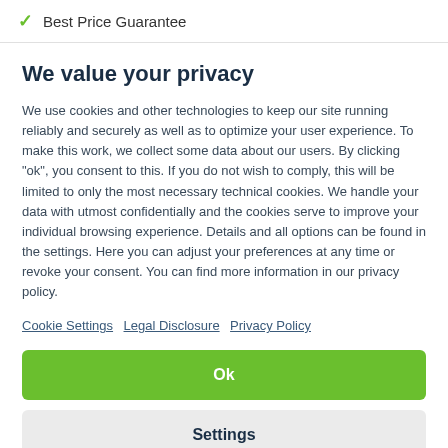✓ Best Price Guarantee
We value your privacy
We use cookies and other technologies to keep our site running reliably and securely as well as to optimize your user experience. To make this work, we collect some data about our users. By clicking "ok", you consent to this. If you do not wish to comply, this will be limited to only the most necessary technical cookies. We handle your data with utmost confidentially and the cookies serve to improve your individual browsing experience. Details and all options can be found in the settings. Here you can adjust your preferences at any time or revoke your consent. You can find more information in our privacy policy.
Cookie Settings  Legal Disclosure  Privacy Policy
Ok
Settings